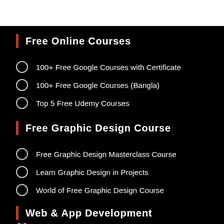Free Online Courses
100+ Free Google Courses with Certificate
100+ Free Google Courses (Bangla)
Top 5 Free Udemy Courses
Free Graphic Design Course
Free Graphic Design Masterclass Course
Learn Graphic Design in Projects
World of Free Graphic Design Course
Web & App Development
Top 5 Free Web Development Courses